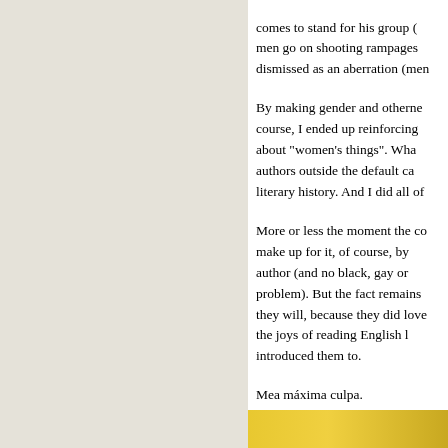comes to stand for his group (men go on shooting rampages dismissed as an aberration (men
By making gender and otherness course, I ended up reinforcing about "women's things". Wha authors outside the default ca literary history. And I did all of
More or less the moment the co make up for it, of course, by author (and no black, gay or problem). But the fact remains they will, because they did love the joys of reading English l introduced them to.
Mea máxima culpa.
[Figure (photo): Bottom portion of a yellow-colored book cover or image, partially visible at the bottom right of the page.]